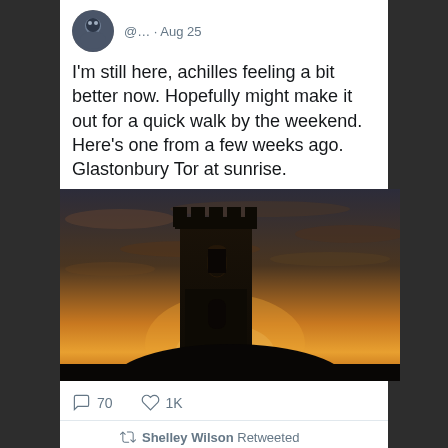@… · Aug 25
I'm still here, achilles feeling a bit better now. Hopefully might make it out for a quick walk by the weekend. Here's one from a few weeks ago. Glastonbury Tor at sunrise.
[Figure (photo): Photo of Glastonbury Tor tower at sunrise with golden sky and clouds]
70  1K
Shelley Wilson Retweeted
Archaeolo… @… · Aug 24